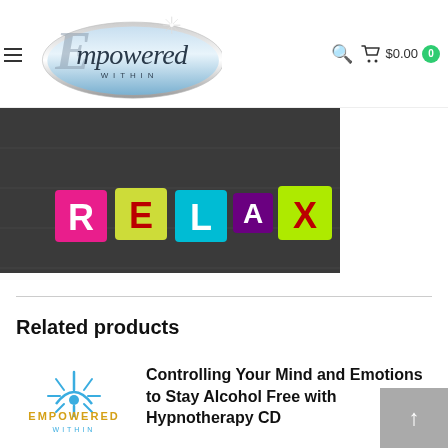Empowered Within — $0.00 cart
[Figure (photo): Colorful letter blocks spelling RELAX on a dark wooden surface]
Related products
[Figure (logo): Empowered Within logo — teal sunburst with text EMPOWERED WITHIN]
Controlling Your Mind and Emotions to Stay Alcohol Free with Hypnotherapy CD